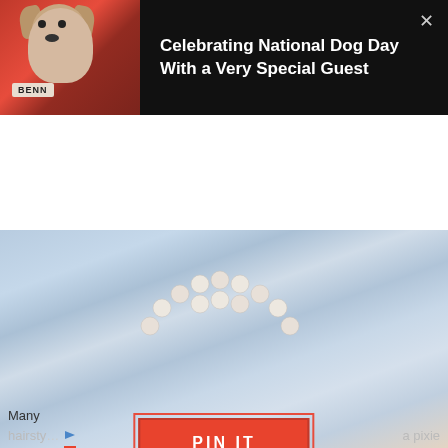[Figure (photo): Top banner with black background showing a small Yorkshire Terrier dog photo on the left and article title text on the right with a close X button]
Celebrating National Dog Day With a Very Special Guest
[Figure (photo): Close-up fashion photo of a woman wearing light blue lace clothing and pearl necklace, with a red PIN IT button overlaid at the bottom center]
Credit photo: instagram.com/Chicover50
[Figure (screenshot): Advertisement overlay for Circle K Store Finder app with Circle K logo, title, and navigation arrow icon]
Many
hairsty... a pixie